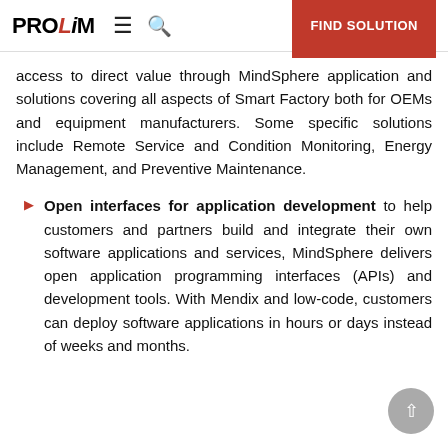PROLIM  ≡  🔍  FIND SOLUTION
access to direct value through MindSphere application and solutions covering all aspects of Smart Factory both for OEMs and equipment manufacturers. Some specific solutions include Remote Service and Condition Monitoring, Energy Management, and Preventive Maintenance.
Open interfaces for application development to help customers and partners build and integrate their own software applications and services, MindSphere delivers open application programming interfaces (APIs) and development tools. With Mendix and low-code, customers can deploy software applications in hours or days instead of weeks and months.